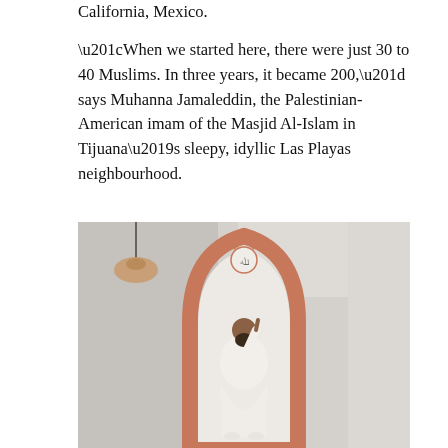California, Mexico.
“When we started here, there were just 30 to 40 Muslims. In three years, it became 200,” says Muhanna Jamaleddin, the Palestinian-American imam of the Masjid Al-Islam in Tijuana’s sleepy, idyllic Las Playas neighbourhood.
[Figure (photo): A man wearing a white robe stands inside a pointed arch (mihrab) framed in terracotta/salmon color. The arch has an Arabic inscription at the top. A pendant lamp hangs in the upper left. The interior appears to be a mosque with light-colored walls.]